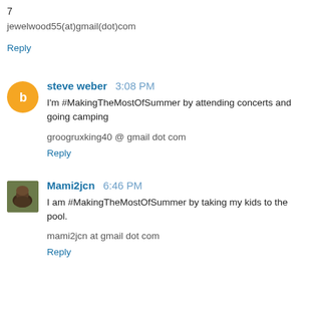7
jewelwood55(at)gmail(dot)com
Reply
steve weber  3:08 PM
I'm #MakingTheMostOfSummer by attending concerts and going camping
groogruxking40 @ gmail dot com
Reply
Mami2jcn  6:46 PM
I am #MakingTheMostOfSummer by taking my kids to the pool.
mami2jcn at gmail dot com
Reply